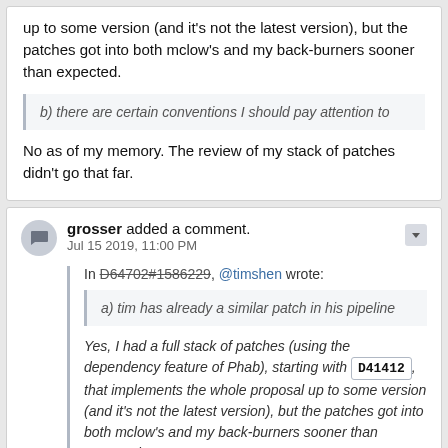up to some version (and it's not the latest version), but the patches got into both mclow's and my back-burners sooner than expected.
b) there are certain conventions I should pay attention to
No as of my memory. The review of my stack of patches didn't go that far.
grosser added a comment. Jul 15 2019, 11:00 PM
In D64702#1586229, @timshen wrote:
a) tim has already a similar patch in his pipeline
Yes, I had a full stack of patches (using the dependency feature of Phab), starting with D41412, that implements the whole proposal up to some version (and it's not the latest version), but the patches got into both mclow's and my back-burners sooner than expected.